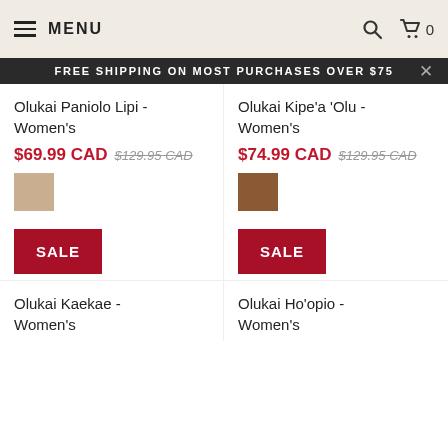MENU | search | cart 0
FREE SHIPPING ON MOST PURCHASES OVER $75
Olukai Paniolo Lipi - Women's
$69.99 CAD $129.95 CAD
Olukai Kipe'a 'Olu - Women's
$74.99 CAD $129.95 CAD
SALE
SALE
Olukai Kaekae - Women's
Olukai Ho'opio - Women's